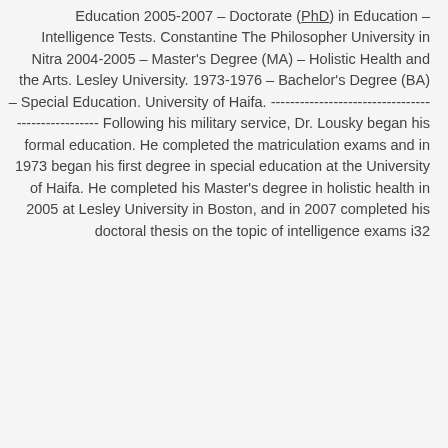Education 2005-2007 – Doctorate (PhD) in Education – Intelligence Tests. Constantine The Philosopher University in Nitra 2004-2005 – Master's Degree (MA) – Holistic Health and the Arts. Lesley University. 1973-1976 – Bachelor's Degree (BA) – Special Education. University of Haifa. ------------------------------------ Following his military service, Dr. Lousky began his formal education. He completed the matriculation exams and in 1973 began his first degree in special education at the University of Haifa. He completed his Master's degree in holistic health in 2005 at Lesley University in Boston, and in 2007 completed his doctoral thesis on the topic of intelligence exams i32